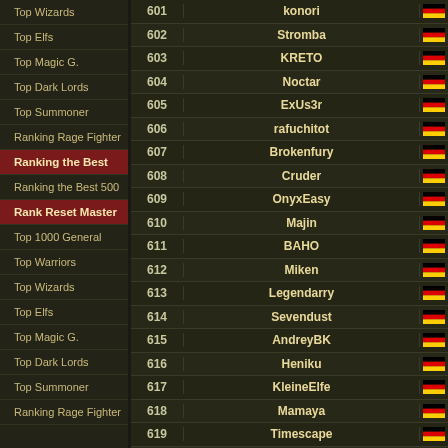Top Wizards
Top Elfs
Top Magic G.
Top Dark Lords
Top Summoner
Ranking Rage Fighter
Ranking the Best
Ranking the Best 500
Rank Reset Master
Top 1000 General
Top Warriors
Top Wizards
Top Elfs
Top Magic G.
Top Dark Lords
Top Summoner
Ranking Rage Fighter
| Rank | Name | Flag |
| --- | --- | --- |
| 601 | konori | DE |
| 602 | Stromba | DE |
| 603 | KRETO | DE |
| 604 | Noctar | DE |
| 605 | ExUs3r | DE |
| 606 | rafuchitot | DE |
| 607 | Brokenfury | DE |
| 608 | Cruder | DE |
| 609 | OnyxEasy | DE |
| 610 | Majin | DE |
| 611 | BAHO | DE |
| 612 | Miken | DE |
| 613 | Legendarry | DE |
| 614 | Sevendust | DE |
| 615 | AndreyBK | DE |
| 616 | Heniku | DE |
| 617 | KleineElfe | DE |
| 618 | Mamaya | DE |
| 619 | Timescape | DE |